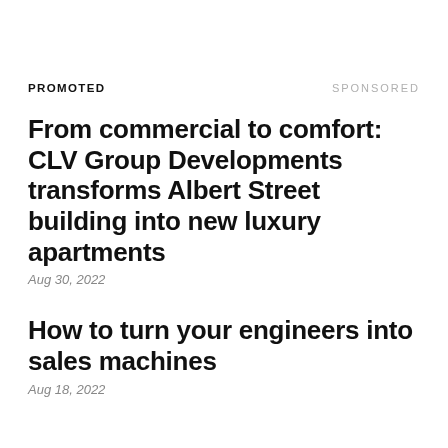PROMOTED
SPONSORED
From commercial to comfort: CLV Group Developments transforms Albert Street building into new luxury apartments
Aug 30, 2022
How to turn your engineers into sales machines
Aug 18, 2022